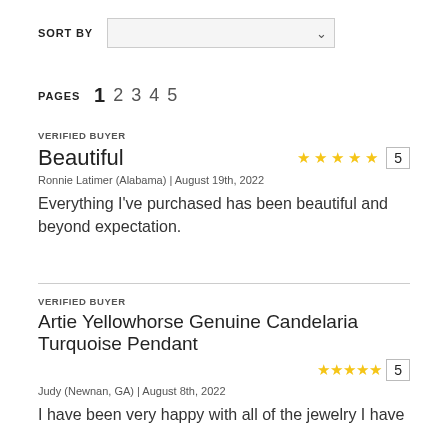SORT BY
PAGES  1  2  3  4  5
VERIFIED BUYER
Beautiful
Ronnie Latimer (Alabama) | August 19th, 2022
Everything I've purchased has been beautiful and beyond expectation.
VERIFIED BUYER
Artie Yellowhorse Genuine Candelaria Turquoise Pendant
Judy (Newnan, GA) | August 8th, 2022
I have been very happy with all of the jewelry I have